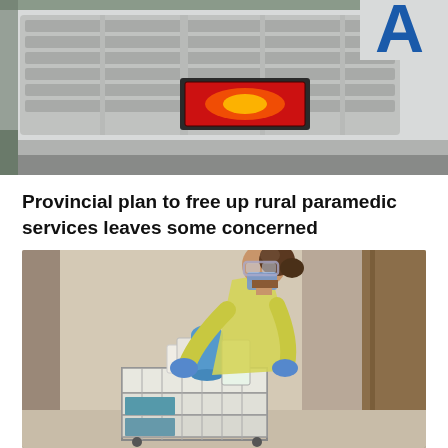[Figure (photo): Close-up photo of the front grille of an ambulance with red emergency lights visible, white vehicle body with blue lettering partially visible in top right corner.]
Provincial plan to free up rural paramedic services leaves some concerned
[Figure (photo): A healthcare worker wearing a yellow protective gown, blue gloves, face mask, and safety goggles, working with medical supply cart loaded with bottles and packaged supplies in a hospital corridor.]